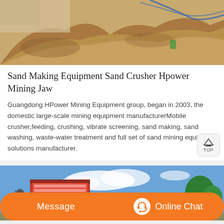[Figure (photo): Excavation site with mounds of brown earth/dirt, construction debris, pipes or hoses visible in the background against a tan wall]
Sand Making Equipment Sand Crusher Hpower Mining Jaw
Guangdong HPower Mining Equipment group, began in 2003, the domestic large-scale mining equipment manufacturerMobile crusher,feeding, crushing, vibrate screening, sand making, sand washing, waste-water treatment and full set of sand mining equipment solutions manufacturer.
[Figure (photo): Outdoor scene with a company building/signage against a blue sky with clouds, trees visible on the right. A customer service representative (woman with headset) is overlaid in the bottom-left corner.]
Message
Online Chat